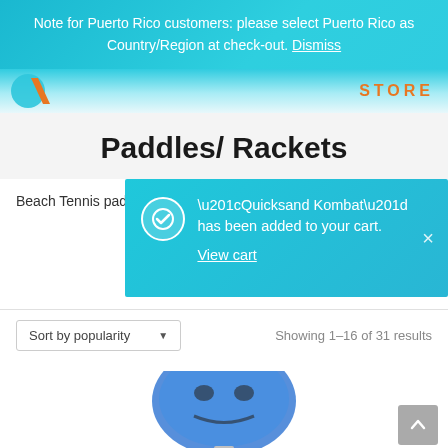Note for Puerto Rico customers: please select Puerto Rico as Country/Region at check-out. Dismiss
[Figure (logo): Store logo with blue circle and orange STORE text]
Paddles/ Rackets
Beach Tennis paddle
“Quicksand Kombat” has been added to your cart. View cart
Sort by popularity ▾   Showing 1–16 of 31 results
[Figure (photo): Blue beach tennis paddle product thumbnail]